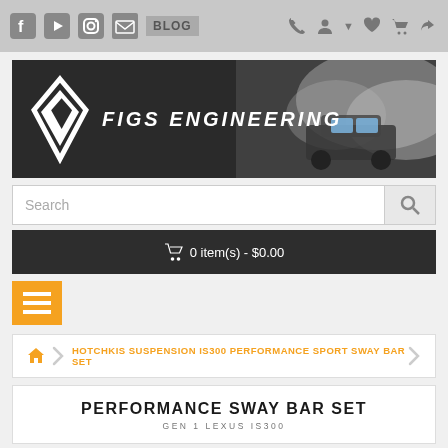FIGS ENGINEERING - Navigation bar with social icons, BLOG, phone, account, wishlist, cart, share
[Figure (logo): FIGS ENGINEERING banner with logo diamond shape and drifting car with smoke]
Search
0 item(s) - $0.00
[Figure (other): Orange hamburger menu button with three horizontal white lines]
HOTCHKIS SUSPENSION IS300 PERFORMANCE SPORT SWAY BAR SET
PERFORMANCE SWAY BAR SET
GEN 1 LEXUS IS300